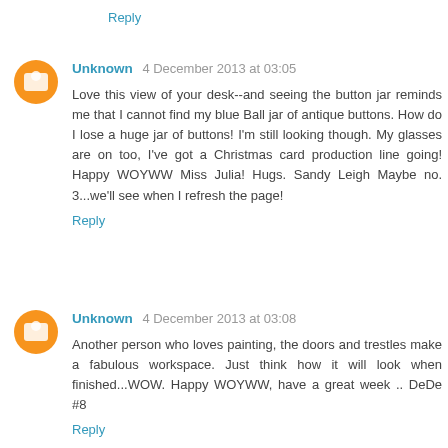Reply
Unknown 4 December 2013 at 03:05
Love this view of your desk--and seeing the button jar reminds me that I cannot find my blue Ball jar of antique buttons. How do I lose a huge jar of buttons! I'm still looking though. My glasses are on too, I've got a Christmas card production line going! Happy WOYWW Miss Julia! Hugs. Sandy Leigh Maybe no. 3...we'll see when I refresh the page!
Reply
Unknown 4 December 2013 at 03:08
Another person who loves painting, the doors and trestles make a fabulous workspace. Just think how it will look when finished...WOW. Happy WOYWW, have a great week .. DeDe #8
Reply